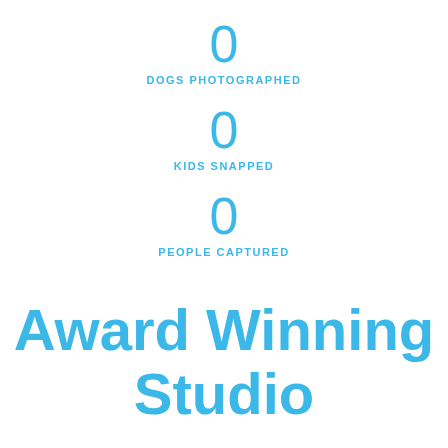0
DOGS PHOTOGRAPHED
0
KIDS SNAPPED
0
PEOPLE CAPTURED
Award Winning Studio